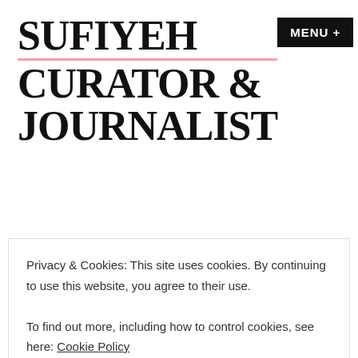SUFIYEH CURATOR & JOURNALIST
MENU +
CATEGORY ARCHIVES: EVENTS
Privacy & Cookies: This site uses cookies. By continuing to use this website, you agree to their use.
To find out more, including how to control cookies, see here: Cookie Policy
Close and accept
SS13 for ETape which you can find here including